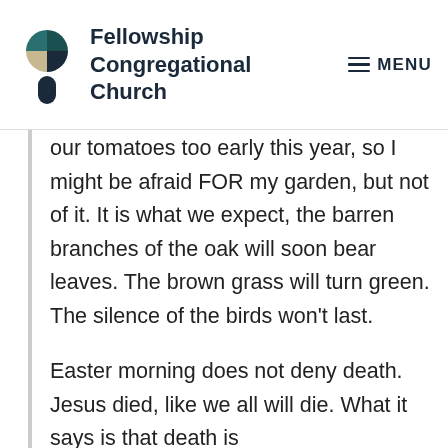Fellowship Congregational Church | MENU
our tomatoes too early this year, so I might be afraid FOR my garden, but not of it. It is what we expect, the barren branches of the oak will soon bear leaves. The brown grass will turn green. The silence of the birds won't last.
Easter morning does not deny death. Jesus died, like we all will die. What it says is that death is